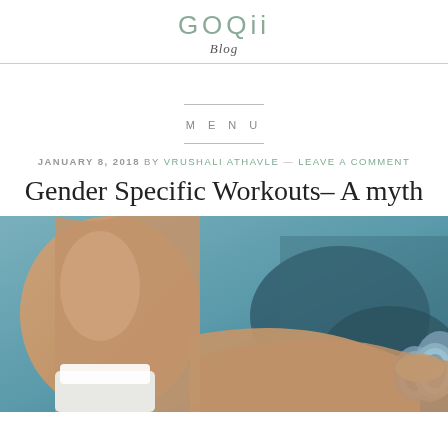GOQii Blog
MENU
JANUARY 8, 2018 BY VRUSHALI ATHAVLE — LEAVE A COMMENT
Gender Specific Workouts– A myth
[Figure (photo): A person holding dumbbells at a gym, showing arms and torso from behind, with gym equipment in background. Close-up fitness/workout photo.]